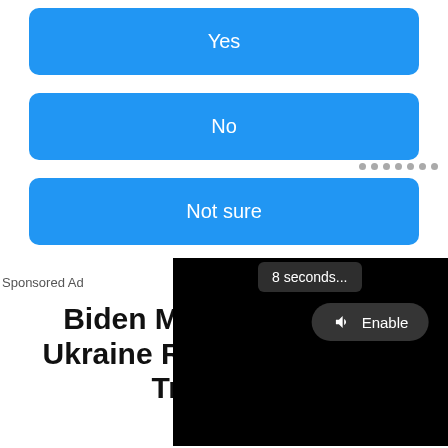Yes
No
Not sure
Sponsored Ad
Biden Makes Stunning Ukraine Revelation To US Troops, W... Embarr...
Ca...
[Figure (screenshot): Video player overlay with black background, '8 seconds...' countdown bubble, 'Enable' audio button with speaker icon, 'Loading' text and dot progress indicators]